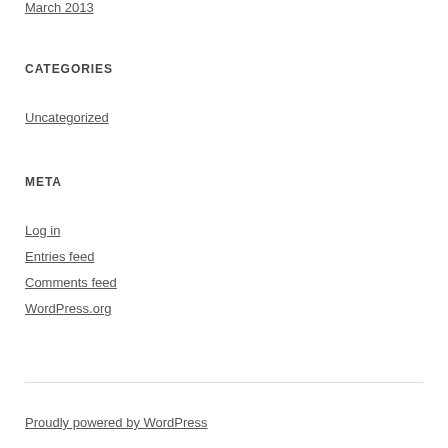March 2013
CATEGORIES
Uncategorized
META
Log in
Entries feed
Comments feed
WordPress.org
Proudly powered by WordPress